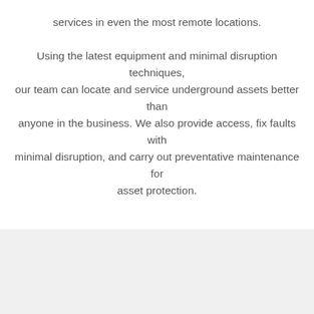Using the latest equipment and minimal disruption techniques, our team can locate and service underground assets better than anyone in the business. We also provide access, fix faults with minimal disruption, and carry out preventative maintenance for asset protection.
[Figure (photo): Large gray/light section representing an image placeholder area]
We're offline
Leave a message
Underground Construction...